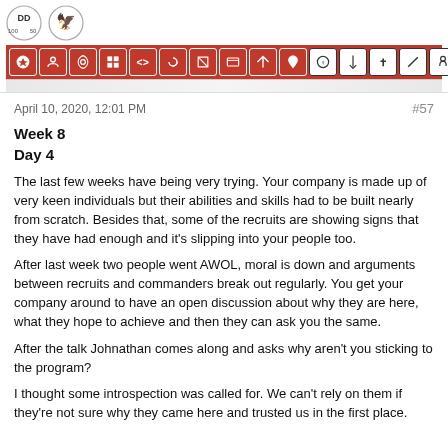Forum post header with logo icons and navigation icon bar
April 10, 2020, 12:01 PM  #57
Week 8
Day 4
The last few weeks have being very trying. Your company is made up of very keen individuals but their abilities and skills had to be built nearly from scratch. Besides that, some of the recruits are showing signs that they have had enough and it's slipping into your people too.
After last week two people went AWOL, moral is down and arguments between recruits and commanders break out regularly. You get your company around to have an open discussion about why they are here, what they hope to achieve and then they can ask you the same.
After the talk Johnathan comes along and asks why aren't you sticking to the program?
I thought some introspection was called for. We can't rely on them if they're not sure why they came here and trusted us in the first place.